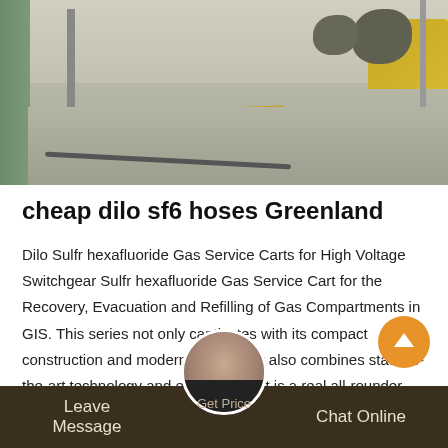[Figure (photo): Outdoor photo of industrial/electrical switchgear installation area showing concrete ground, cables, yellow chain or barrier, metal structures, shrubs, and a yellow machine or vehicle in the background]
cheap dilo sf6 hoses Greenland
Dilo Sulfr hexafluoride Gas Service Carts for High Voltage Switchgear Sulfr hexafluoride Gas Service Cart for the Recovery, Evacuation and Refilling of Gas Compartments in GIS. This series not only captivates with its compact construction and modern design, but also combines state-of-the-art technology and ergonomics. It is a real all-rounder and covers all practical requirements on a user-friendly base.
Leave Message   Get Price   Chat Online